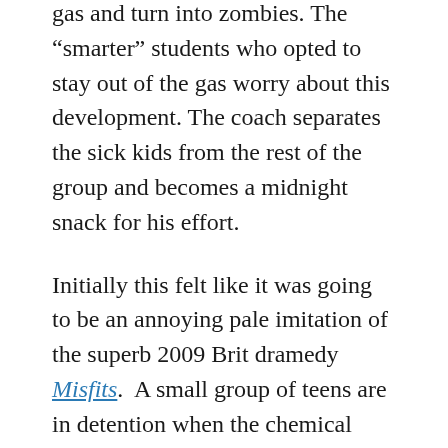gas and turn into zombies. The “smarter” students who opted to stay out of the gas worry about this development. The coach separates the sick kids from the rest of the group and becomes a midnight snack for his effort.
Initially this felt like it was going to be an annoying pale imitation of the superb 2009 Brit dramedy Misfits. A small group of teens are in detention when the chemical plant blows. (In reality this felt more like The Breakfast Club on a meets any Roger Corman film.)